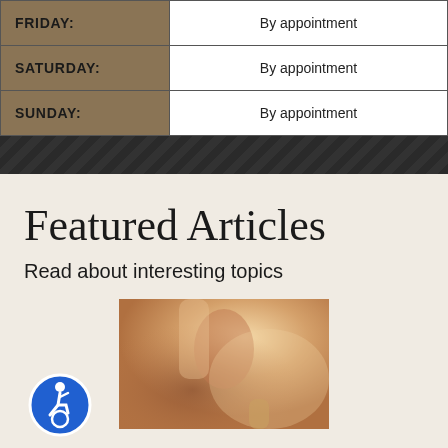| Day | Hours |
| --- | --- |
| FRIDAY: | By appointment |
| SATURDAY: | By appointment |
| SUNDAY: | By appointment |
Featured Articles
Read about interesting topics
[Figure (photo): A person receiving a massage or spa treatment, warm toned photo]
[Figure (logo): Accessibility icon - blue circle with wheelchair user symbol]